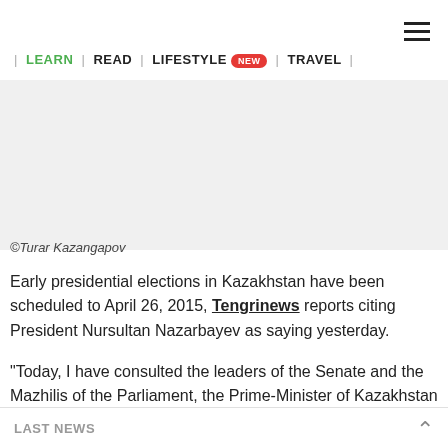| LEARN | READ | LIFESTYLE NEW | TRAVEL |
[Figure (photo): Gray image area (photo placeholder) - ©Turar Kazangapov]
©Turar Kazangapov
Early presidential elections in Kazakhstan have been scheduled to April 26, 2015, Tengrinews reports citing President Nursultan Nazarbayev as saying yesterday.
"Today, I have consulted the leaders of the Senate and the Mazhilis of the Parliament, the Prime-Minister of Kazakhstan and the Chairman of the Constitutional
LAST NEWS